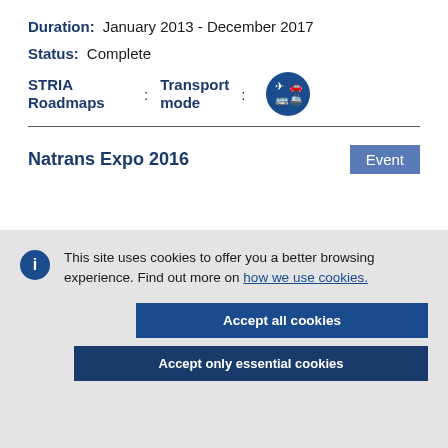Duration: January 2013 - December 2017
Status: Complete
STRIA Roadmaps : Transport mode :
[Figure (illustration): Dark blue circular icon with transport vehicle symbols (plane, car, bus, ship)]
Natrans Expo 2016
Event
This site uses cookies to offer you a better browsing experience. Find out more on how we use cookies.
Accept all cookies
Accept only essential cookies